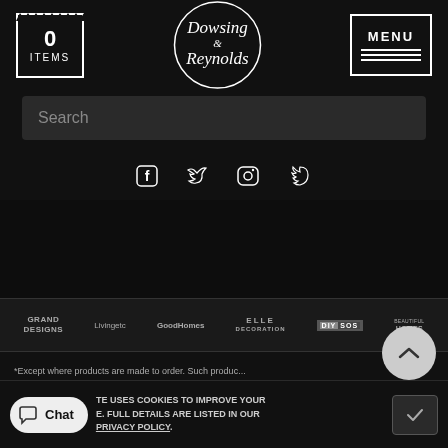0 ITEMS | Dowsing & Reynolds | MENU
Search
[Figure (other): Social media icons row: Facebook, Twitter, Instagram, Pinterest]
[Figure (other): Press logos bar: GRAND DESIGNS, Livingetc, GoodHomes, ELLE DECORATION, DIY SOS, BEAUTIFUL HOMES]
*Except where products are made to order. Such produc...
TE USES COOKIES TO IMPROVE YOUR E. FULL DETAILS ARE LISTED IN OUR PRIVACY POLICY.